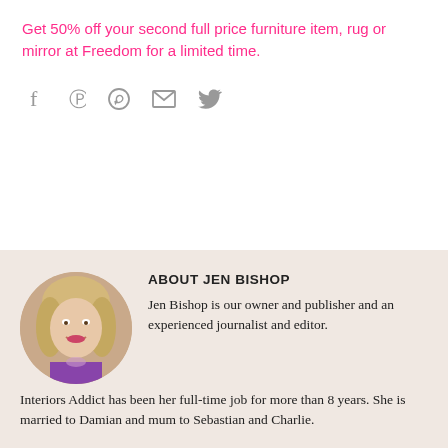Get 50% off your second full price furniture item, rug or mirror at Freedom for a limited time.
[Figure (infographic): Social share icons row: Facebook (f), Pinterest (P), WhatsApp (circle with phone), Email (envelope), Twitter (bird) — all in grey]
[Figure (photo): Circular headshot photo of Jen Bishop, a blonde woman wearing a purple top and statement necklace, smiling]
ABOUT JEN BISHOP

Jen Bishop is our owner and publisher and an experienced journalist and editor. Interiors Addict has been her full-time job for more than 8 years. She is married to Damian and mum to Sebastian and Charlie.